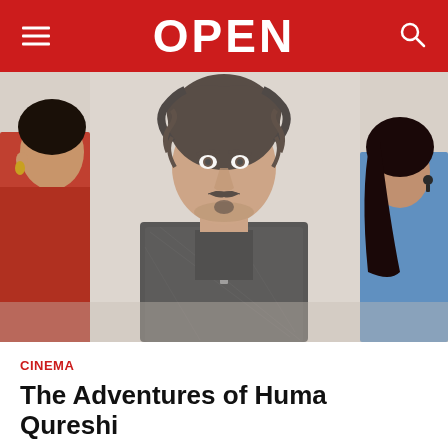OPEN
[Figure (photo): Three people posing together: a man with curly hair wearing a black patterned jacket with a chain necklace stands in the center, a woman in red on the left partially visible, and a woman in blue on the right partially visible.]
CINEMA
The Adventures of Huma Qureshi
Kaveree Bamzai